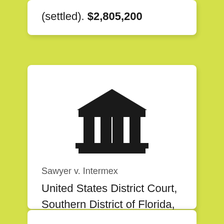(settled). $2,805,200
[Figure (illustration): Black courthouse/bank building icon with columns and triangular roof]
Sawyer v. Intermex United States District Court, Southern District of Florida, Miami Division, Case No. 1:19-cv-22212; (settled). $3,250,000